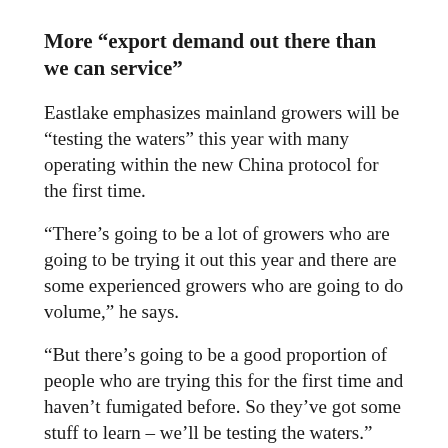More “export demand out there than we can service”
Eastlake emphasizes mainland growers will be “testing the waters” this year with many operating within the new China protocol for the first time.
“There’s going to be a lot of growers who are going to be trying it out this year and there are some experienced growers who are going to do volume,” he says.
“But there’s going to be a good proportion of people who are trying this for the first time and haven’t fumigated before. So they’ve got some stuff to learn – we’ll be testing the waters.”